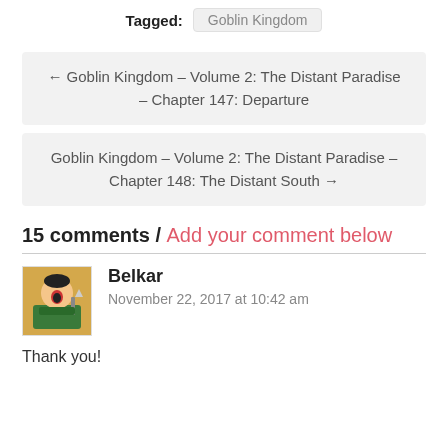Tagged: Goblin Kingdom
← Goblin Kingdom – Volume 2: The Distant Paradise – Chapter 147: Departure
Goblin Kingdom – Volume 2: The Distant Paradise – Chapter 148: The Distant South →
15 comments / Add your comment below
Belkar
November 22, 2017 at 10:42 am
Thank you!